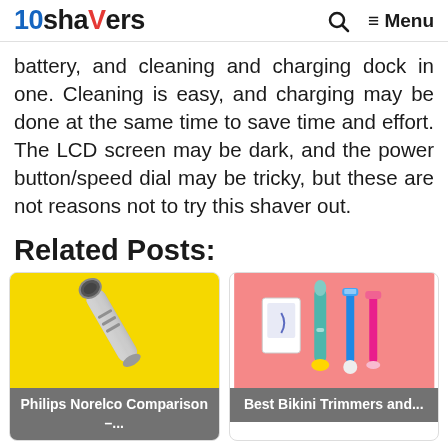10Shavers | Q | ≡ Menu
battery, and cleaning and charging dock in one. Cleaning is easy, and charging may be done at the same time to save time and effort. The LCD screen may be dark, and the power button/speed dial may be tricky, but these are not reasons not to try this shaver out.
Related Posts:
[Figure (photo): Philips Norelco electric shaver on yellow background]
Philips Norelco Comparison –...
[Figure (photo): Best bikini trimmers and razors on pink background]
Best Bikini Trimmers and...